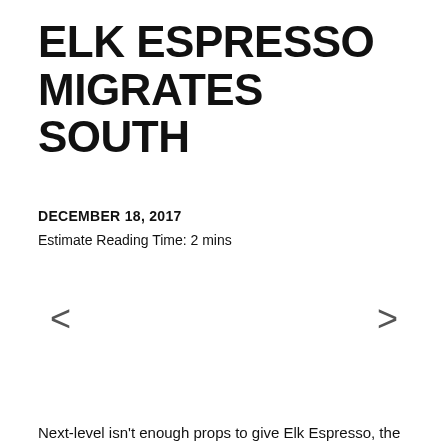ELK ESPRESSO MIGRATES SOUTH
DECEMBER 18, 2017
Estimate Reading Time: 2 mins
Next-level isn't enough props to give Elk Espresso, the